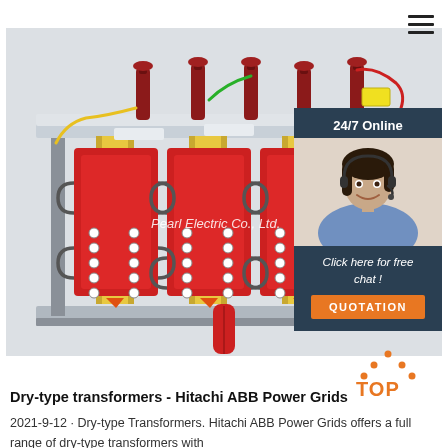[Figure (photo): Dry-type transformer with red coil windings and gold vertical core sections, multiple high-voltage bushings on top with colored leads (yellow, green, red), mounted on silver base frame. Watermark text reads 'Pearl Electric Co., Ltd.']
[Figure (photo): Customer service agent (woman with headset) photo in dark teal overlay panel, with '24/7 Online' text, 'Click here for free chat!' text, and orange QUOTATION button]
[Figure (infographic): TOP icon with orange triangle dots and orange bold text 'TOP']
Dry-type transformers - Hitachi ABB Power Grids
2021-9-12 · Dry-type Transformers. Hitachi ABB Power Grids offers a full range of dry-type transformers with